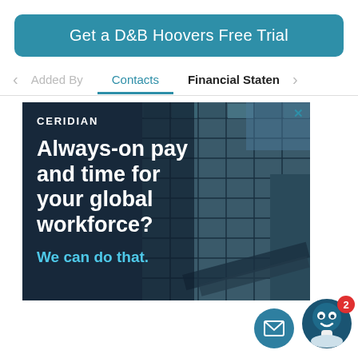Get a D&B Hoovers Free Trial
Added By
Contacts
Financial Statem
[Figure (screenshot): Ceridian advertisement showing a glass office building background with text: CERIDIAN, Always-on pay and time for your global workforce?, We can do that.]
[Figure (infographic): Email FAB button (circular teal) and chat bot FAB button (circular dark teal) with red badge showing number 2]